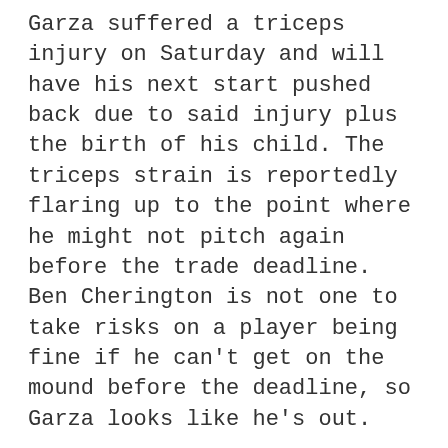Garza suffered a triceps injury on Saturday and will have his next start pushed back due to said injury plus the birth of his child. The triceps strain is reportedly flaring up to the point where he might not pitch again before the trade deadline. Ben Cherington is not one to take risks on a player being fine if he can't get on the mound before the deadline, so Garza looks like he's out.
James Shields and Wade Davis
The Rays are inching closer and closer to opening their team for sale, and Shields will be among the first (only?) to go. He's a strong, solid pitcher but is prone to inconsistency, which is flaring its head this year but a lot of it is due to a spike in hits